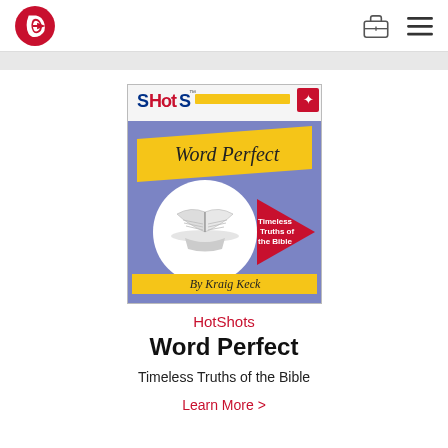Turning Point logo and navigation icons
[Figure (illustration): Book cover for HotShots 'Word Perfect: Timeless Truths of the Bible' by Kraig Keck. Blue cover with yellow diagonal banner reading 'Word Perfect', red arrow pointing right with text 'Timeless Truths of the Bible', open Bible illustration in white circle, yellow banner at bottom reading 'By Kraig Keck', SHOTS logo at top left.]
HotShots
Word Perfect
Timeless Truths of the Bible
Learn More >